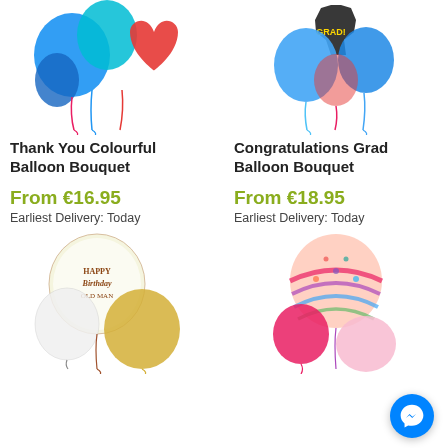[Figure (photo): Thank You Colourful Balloon Bouquet product photo - colorful balloons including blue, red heart, and teal]
[Figure (photo): Congratulations Grad Balloon Bouquet product photo - black grad balloon with blue and red balloons]
Thank You Colourful Balloon Bouquet
Congratulations Grad Balloon Bouquet
From €16.95
From €18.95
Earliest Delivery: Today
Earliest Delivery: Today
[Figure (photo): Happy Birthday balloon bouquet - round birthday balloon, white and gold balloons]
[Figure (photo): Colorful striped balloon bouquet - pink, multicolor round balloons]